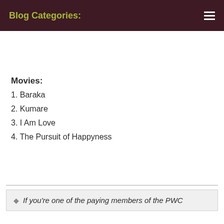Blog Categories:
Movies:
1. Baraka
2. Kumare
3. I Am Love
4. The Pursuit of Happyness
If you're one of the paying members of the PWC